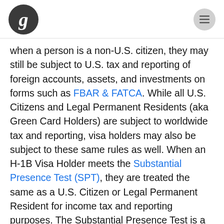Greenback Tax Services logo and navigation menu
when a person is a non-U.S. citizen, they may still be subject to U.S. tax and reporting of foreign accounts, assets, and investments on forms such as FBAR & FATCA. While all U.S. Citizens and Legal Permanent Residents (aka Green Card Holders) are subject to worldwide tax and reporting, visa holders may also be subject to these same rules as well. When an H-1B Visa Holder meets the Substantial Presence Test (SPT), they are treated the same as a U.S. Citizen or Legal Permanent Resident for income tax and reporting purposes. The Substantial Presence Test is a test used to count the number of days over the past three (3) years (using a specific 1:1, 3:1, and 6:1 ratio) that the foreign person has resided in the United